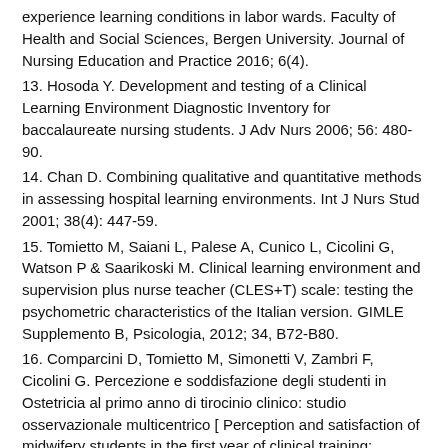experience learning conditions in labor wards. Faculty of Health and Social Sciences, Bergen University. Journal of Nursing Education and Practice 2016; 6(4).
13. Hosoda Y. Development and testing of a Clinical Learning Environment Diagnostic Inventory for baccalaureate nursing students. J Adv Nurs 2006; 56: 480-90.
14. Chan D. Combining qualitative and quantitative methods in assessing hospital learning environments. Int J Nurs Stud 2001; 38(4): 447-59.
15. Tomietto M, Saiani L, Palese A, Cunico L, Cicolini G, Watson P & Saarikoski M. Clinical learning environment and supervision plus nurse teacher (CLES+T) scale: testing the psychometric characteristics of the Italian version. GIMLE Supplemento B, Psicologia, 2012; 34, B72-B80.
16. Comparcini D, Tomietto M, Simonetti V, Zambri F, Cicolini G. Percezione e soddisfazione degli studenti in Ostetricia al primo anno di tirocinio clinico: studio osservazionale multicentrico [ Perception and satisfaction of midwifery students in the first year of clinical training: multicenter observational study], Prof Inferm. 2016; 69(2):95-102
17. Saarikoski M, Isoaho H, Warne T, Leino-Kilpi Hb,The nurse teacher in clinical practice: developing the new sub-dimension to the